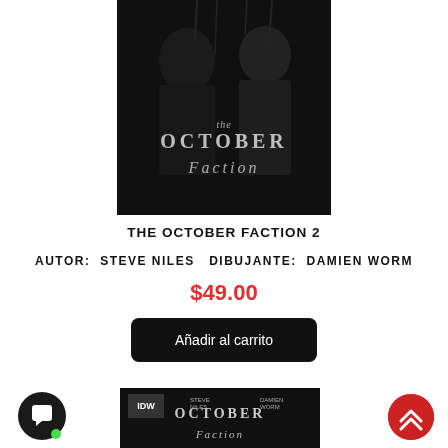[Figure (illustration): Dark gothic book cover of 'The October Faction' volume 2, showing two shadowy figures in black and white with dripping effects and stylized title text]
THE OCTOBER FACTION 2
AUTOR:  STEVE NILES   DIBUJANTE:  DAMIEN WORM
$49.00
Añadir al carrito
[Figure (illustration): Partial bottom view of another edition of 'The October Faction' comic book cover showing IDW logo and similar dark artwork]
[Figure (other): Chat support button icon (dark circle with speech bubble)]
[Figure (other): Scroll to top button (red circle with double up arrow)]